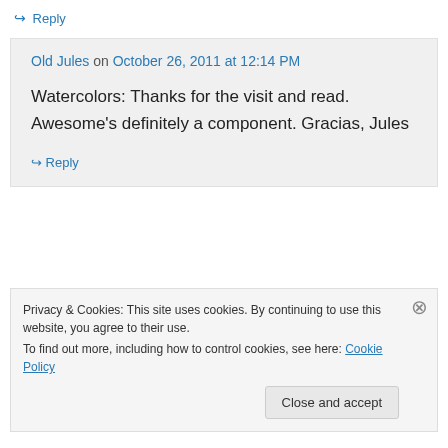↪ Reply
Old Jules on October 26, 2011 at 12:14 PM
Watercolors: Thanks for the visit and read. Awesome's definitely a component. Gracias, Jules
↪ Reply
Privacy & Cookies: This site uses cookies. By continuing to use this website, you agree to their use. To find out more, including how to control cookies, see here: Cookie Policy
Close and accept